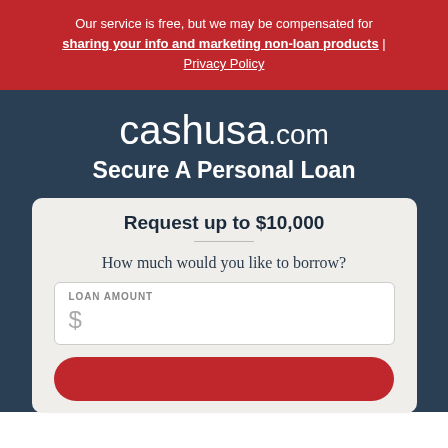Our service is free, but we may be compensated for sharing your info and marketing non-loan products | Privacy Policy
[Figure (logo): cashusa.com logo in white text on dark blue background]
Secure A Personal Loan
Request up to $10,000
How much would you like to borrow?
LOAN AMOUNT
$